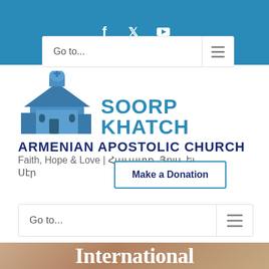Social media icons: Facebook, Twitter, YouTube
[Figure (screenshot): Navigation bar with 'Go to...' dropdown and hamburger menu icon on blue background]
[Figure (logo): Soorp Khatch Armenian Apostolic Church logo with blue church building illustration]
Faith, Hope & Love | Հաւատք, Յոյս, եւ Սէր
[Figure (other): Make a Donation button with border]
[Figure (screenshot): Navigation bar with 'Go to...' dropdown and hamburger menu icon]
International